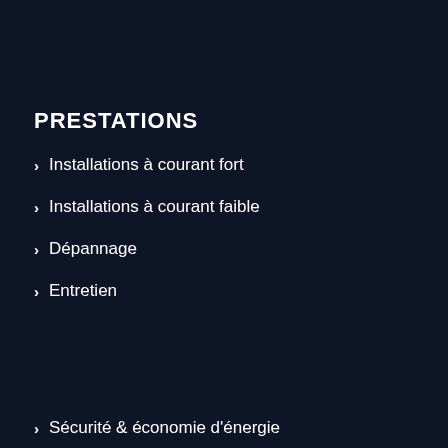PRESTATIONS
Installations à courant fort
Installations à courant faible
Dépannage
Entretien
Sécurité & économie d'énergie